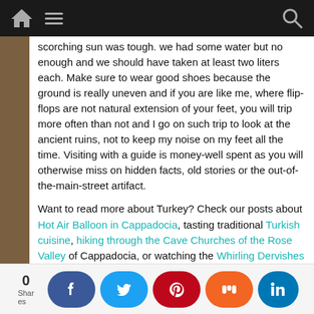[Navigation bar with home icon, menu icon, and search icon]
scorching sun was tough. we had some water but no enough and we should have taken at least two liters each. Make sure to wear good shoes because the ground is really uneven and if you are like me, where flip-flops are not natural extension of your feet, you will trip more often than not and I go on such trip to look at the ancient ruins, not to keep my noise on my feet all the time. Visiting with a guide is money-well spent as you will otherwise miss on hidden facts, old stories or the out-of-the-main-street artifact.
Want to read more about Turkey? Check our posts about Hot Air Balloon in Cappadocia, tasting traditional Turkish cuisine, hiking through the Cave Churches of the Rose Valley of Cappadocia, or watching the Whirling Dervishes Ceremony.
0 shares | Sign [social share buttons: Facebook, Twitter, Pinterest, Mix, LinkedIn]